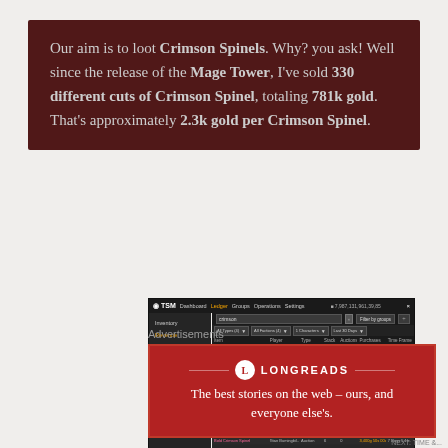Our aim is to loot Crimson Spinels. Why? you ask! Well since the release of the Mage Tower, I've sold 330 different cuts of Crimson Spinel, totaling 781k gold. That's approximately 2.3k gold per Crimson Spinel.
[Figure (screenshot): TSM (TradeSkillMaster) addon UI showing Ledger > Revenue > Sales section filtered by 'crimson', displaying a table of Crimson Spinel auction sales with columns for Item, Player, Type, Stack, Auctions, Purchases, Time Frame]
Advertisements
[Figure (other): Longreads advertisement banner: 'The best stories on the web – ours, and everyone else's.']